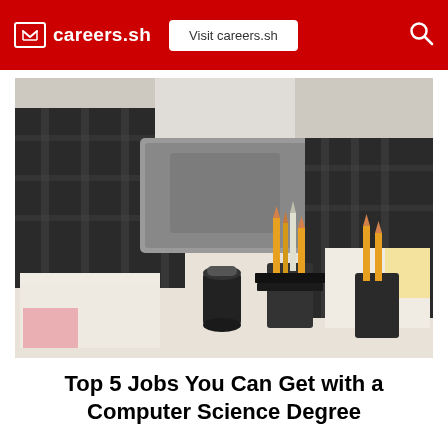careers.sh  Visit careers.sh
[Figure (photo): People collaborating around a table with a laptop, pencil holders, coffee cups, and papers on the table. A person in a black plaid shirt stands with a gray laptop open in front of them.]
Top 5 Jobs You Can Get with a Computer Science Degree